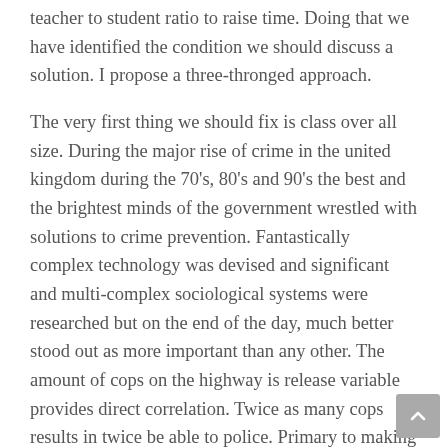teacher to student ratio to raise time. Doing that we have identified the condition we should discuss a solution. I propose a three-thronged approach.
The very first thing we should fix is class over all size. During the major rise of crime in the united kingdom during the 70's, 80's and 90's the best and the brightest minds of the government wrestled with solutions to crime prevention. Fantastically complex technology was devised and significant and multi-complex sociological systems were researched but on the end of the day, much better stood out as more important than any other. The amount of cops on the highway is release variable provides direct correlation. Twice as many cops results in twice be able to police. Primary to making mandarin studies interesting therefore starts with this first, one truth. More teachers can make for better set off any school.
The second thing ought to fix will be the focus on testable outcomes. What people score on the test is yet